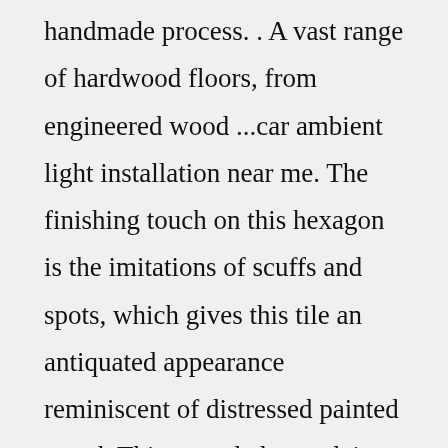handmade process. . A vast range of hardwood floors, from engineered wood ...car ambient light installation near me. The finishing touch on this hexagon is the imitations of scuffs and spots, which gives this tile an antiquated appearance reminiscent of distressed painted wood. This extruded porcelain tile has high variation for a one-of-a-kind look that can only be achieved through the partially